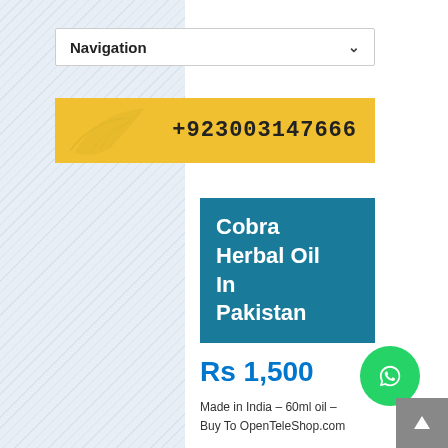[Figure (screenshot): Navigation dropdown bar with 'Navigation' label and chevron down icon]
[Figure (infographic): Yellow banner with leaf watermark and phone number +923003147666]
[Figure (illustration): Teal square product card reading 'Cobra Herbal Oil In Pakistan']
Rs 1,500
[Figure (logo): Green circular WhatsApp button with chat icon]
Made in India – 60ml oil – Buy To OpenTeleShop.com
[Figure (other): Grey scroll-to-top button with upward arrow icon]